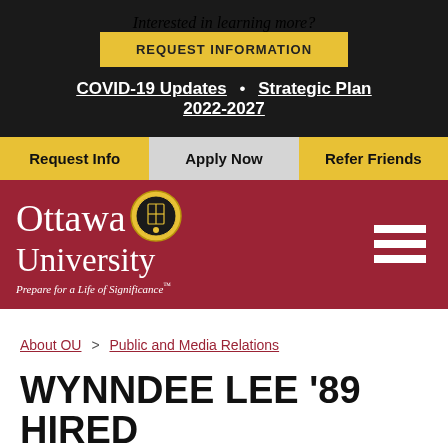Interested in learning more?
REQUEST INFORMATION
COVID-19 Updates • Strategic Plan 2022-2027
Request Info
Apply Now
Refer Friends
[Figure (logo): Ottawa University logo with seal and tagline 'Prepare for a Life of Significance']
About OU > Public and Media Relations
WYNNDEE LEE '89 HIRED